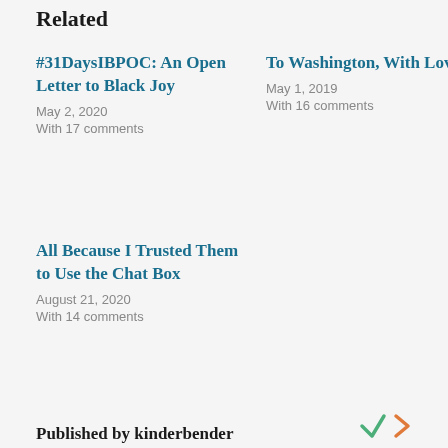Related
#31DaysIBPOC: An Open Letter to Black Joy
May 2, 2020
With 17 comments
To Washington, With Love
May 1, 2019
With 16 comments
All Because I Trusted Them to Use the Chat Box
August 21, 2020
With 14 comments
Published by kinderbender